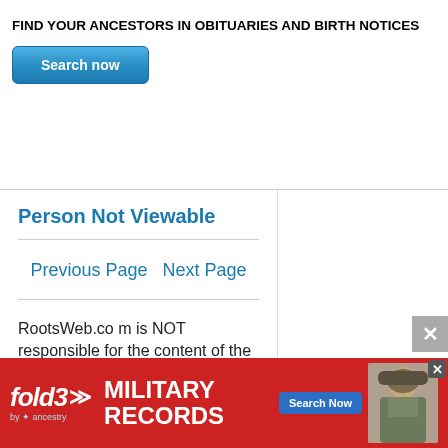FIND YOUR ANCESTORS IN OBITUARIES AND BIRTH NOTICES
Search now
Person Not Viewable
Previous Page  Next Page
RootsWeb.com is NOT responsible for the content of the GEDCOM uploaded they
[Figure (screenshot): fold3 by Ancestry MILITARY RECORDS advertisement banner with Search Now button and soldier photo]